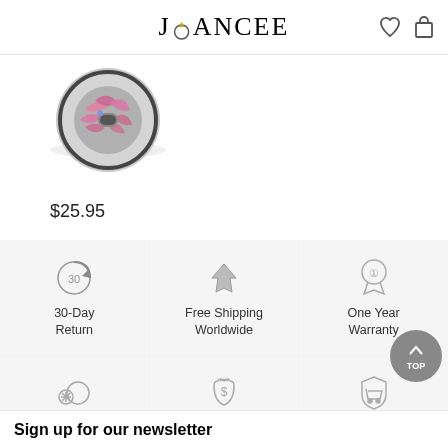JOANCEE
[Figure (photo): A silver charm bead with pink crystal leaf/floral design, shown on white background with reflection]
$25.95
[Figure (infographic): Six feature icons in a 3x2 grid: 30-Day Return (circular arrow with 30), Free Shipping Worldwide (airplane), One Year Warranty (medal with #1), 925 Sterling Silver (ring icon), Reliable Payments (money bag), Secure Shopping (shield with cart)]
Sign up for our newsletter